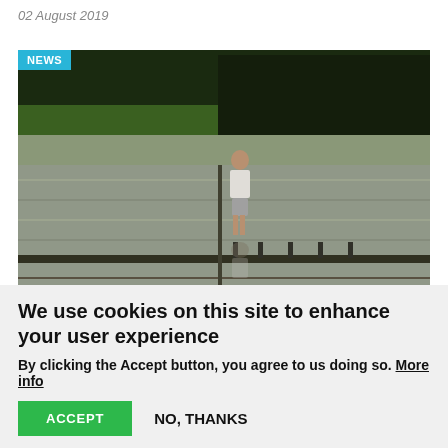02 August 2019
[Figure (photo): A farmer wading through flooded rice paddies / paddy fields, viewed from behind, wearing a white shirt and shorts. The field has reflective water and is surrounded by trees and green vegetation.]
NEWS
We use cookies on this site to enhance your user experience
By clicking the Accept button, you agree to us doing so. More info
ACCEPT
NO, THANKS